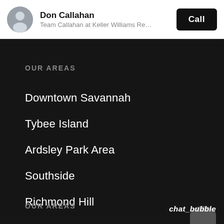Don Callahan — Team Callahan at Keller Williams Re…
OUR AREAS
Downtown Savannah
Tybee Island
Ardsley Park Area
Southside
Richmond Hill
OUR AREAS
chat_bubble